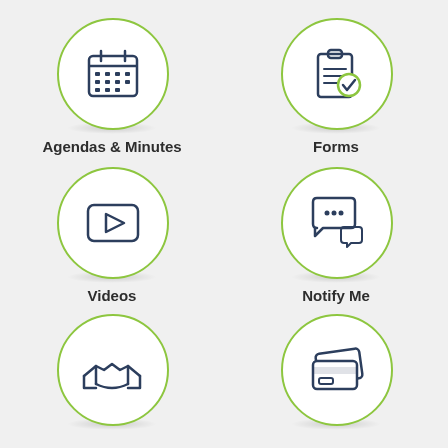[Figure (infographic): Calendar icon inside green circle — Agendas & Minutes]
Agendas & Minutes
[Figure (infographic): Clipboard with checkmark icon inside green circle — Forms]
Forms
[Figure (infographic): Video play button icon inside green circle — Videos]
Videos
[Figure (infographic): Chat/message bubble icon inside green circle — Notify Me]
Notify Me
[Figure (infographic): Handshake icon inside green circle — partially visible]
[Figure (infographic): Credit/payment cards icon inside green circle — partially visible]